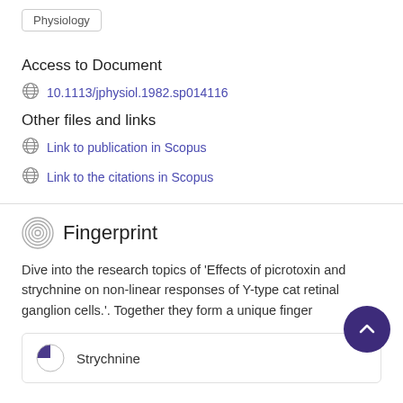Physiology
Access to Document
10.1113/jphysiol.1982.sp014116
Other files and links
Link to publication in Scopus
Link to the citations in Scopus
Fingerprint
Dive into the research topics of 'Effects of picrotoxin and strychnine on non-linear responses of Y-type cat retinal ganglion cells.'. Together they form a unique finger
Strychnine